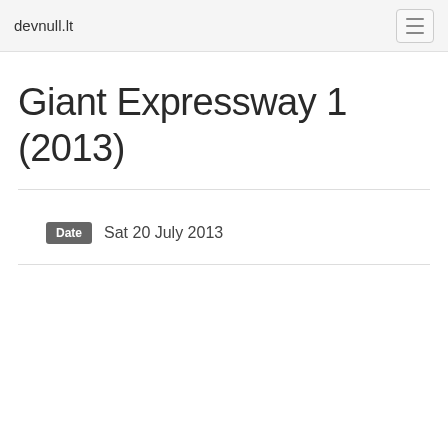devnull.lt
Giant Expressway 1 (2013)
Date  Sat 20 July 2013